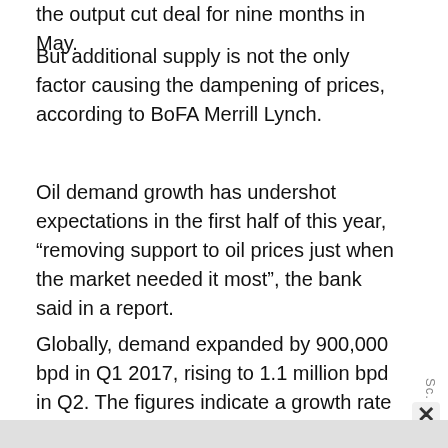the output cut deal for nine months in May.
But additional supply is not the only factor causing the dampening of prices, according to BoFA Merrill Lynch.
Oil demand growth has undershot expectations in the first half of this year, “removing support to oil prices just when the market needed it most”, the bank said in a report.
Globally, demand expanded by 900,000 bpd in Q1 2017, rising to 1.1 million bpd in Q2. The figures indicate a growth rate that is just half of what it was in the last two years.